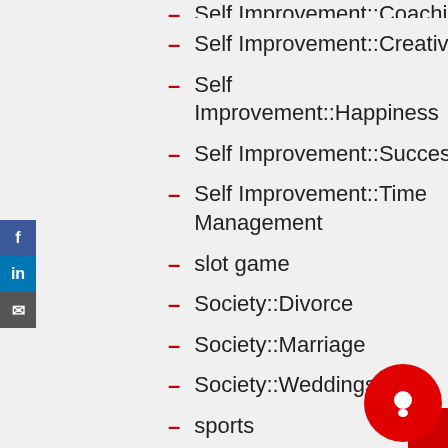Self Improvement::Coaching (partial, top cut off)
Self Improvement::Creativity
Self Improvement::Happiness
Self Improvement::Success
Self Improvement::Time Management
slot game
Society::Divorce
Society::Marriage
Society::Weddings
sports
star gazing (partial, bottom cut off)